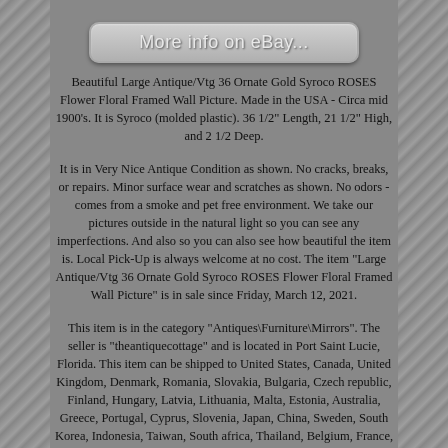[Figure (screenshot): eBay button styled as a clickable link reading 'More info on eBay...']
Beautiful Large Antique/Vtg 36 Ornate Gold Syroco ROSES Flower Floral Framed Wall Picture. Made in the USA - Circa mid 1900's. It is Syroco (molded plastic). 36 1/2" Length, 21 1/2" High, and 2 1/2 Deep.
It is in Very Nice Antique Condition as shown. No cracks, breaks, or repairs. Minor surface wear and scratches as shown. No odors - comes from a smoke and pet free environment. We take our pictures outside in the natural light so you can see any imperfections. And also so you can also see how beautiful the item is. Local Pick-Up is always welcome at no cost. The item "Large Antique/Vtg 36 Ornate Gold Syroco ROSES Flower Floral Framed Wall Picture" is in sale since Friday, March 12, 2021.
This item is in the category "Antiques\Furniture\Mirrors". The seller is "theantiquecottage" and is located in Port Saint Lucie, Florida. This item can be shipped to United States, Canada, United Kingdom, Denmark, Romania, Slovakia, Bulgaria, Czech republic, Finland, Hungary, Latvia, Lithuania, Malta, Estonia, Australia, Greece, Portugal, Cyprus, Slovenia, Japan, China, Sweden, South Korea, Indonesia, Taiwan, South africa, Thailand, Belgium, France, Hong Kong, Ireland, Netherlands, Poland, Spain, Italy, Germany, Austria, Bahamas, Israel, Mexico, New Zealand, Philippines, Singapore, Switzerland, Norway, Saudi arabia, Ukraine, United arab